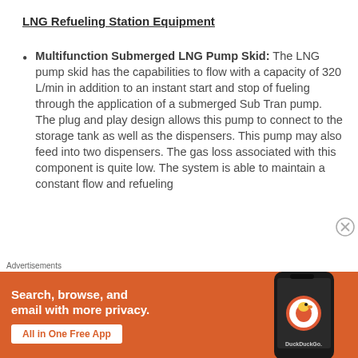LNG Refueling Station Equipment
Multifunction Submerged LNG Pump Skid: The LNG pump skid has the capabilities to flow with a capacity of 320 L/min in addition to an instant start and stop of fueling through the application of a submerged Sub Tran pump. The plug and play design allows this pump to connect to the storage tank as well as the dispensers. This pump may also feed into two dispensers. The gas loss associated with this component is quite low. The system is able to maintain a constant flow and refueling
[Figure (infographic): DuckDuckGo advertisement banner with orange background showing 'Search, browse, and email with more privacy. All in One Free App' text and a phone with DuckDuckGo logo]